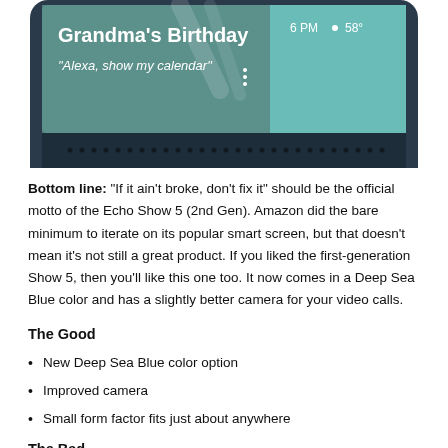[Figure (photo): Photo of the bottom portion of an Amazon Echo Show 5 (2nd Gen) device in Deep Sea Blue color, showing the screen displaying a calendar reminder for 'Grandma's Birthday' with the text '"Alexa, show my calendar"', the time '6 PM', a weather icon, and temperature '58°'. The bottom of the device shows speaker grille dots.]
Bottom line: "If it ain't broke, don't fix it" should be the official motto of the Echo Show 5 (2nd Gen). Amazon did the bare minimum to iterate on its popular smart screen, but that doesn't mean it's not still a great product. If you liked the first-generation Show 5, then you'll like this one too. It now comes in a Deep Sea Blue color and has a slightly better camera for your video calls.
The Good
New Deep Sea Blue color option
Improved camera
Small form factor fits just about anywhere
The Bad